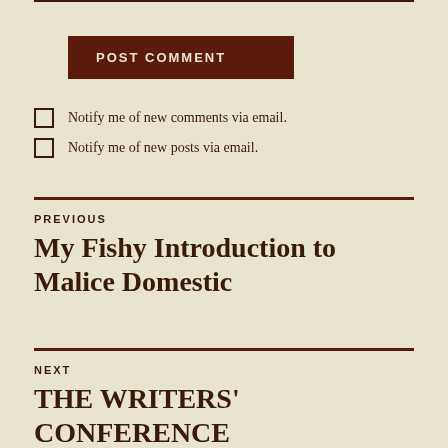POST COMMENT
Notify me of new comments via email.
Notify me of new posts via email.
PREVIOUS
My Fishy Introduction to Malice Domestic
NEXT
THE WRITERS' CONFERENCE